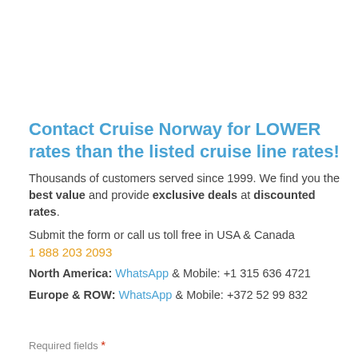Contact Cruise Norway for LOWER rates than the listed cruise line rates!
Thousands of customers served since 1999. We find you the best value and provide exclusive deals at discounted rates.
Submit the form or call us toll free in USA & Canada
1 888 203 2093
North America: WhatsApp & Mobile: +1 315 636 4721
Europe & ROW: WhatsApp & Mobile: +372 52 99 832
Required fields *